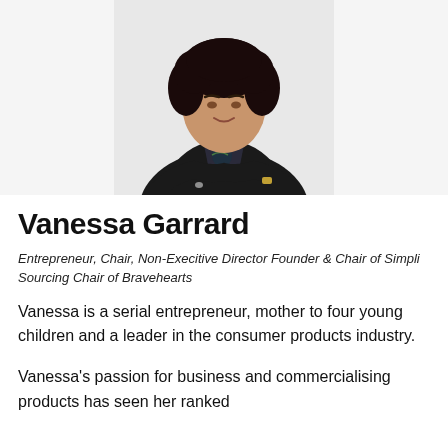[Figure (photo): Professional headshot of Vanessa Garrard, a woman with dark curly hair wearing a black blazer over a patterned blouse, arms crossed, against a white/light grey background.]
Vanessa Garrard
Entrepreneur, Chair, Non-Execitive Director Founder & Chair of Simpli Sourcing Chair of Bravehearts
Vanessa is a serial entrepreneur, mother to four young children and a leader in the consumer products industry.
Vanessa's passion for business and commercialising products has seen her ranked